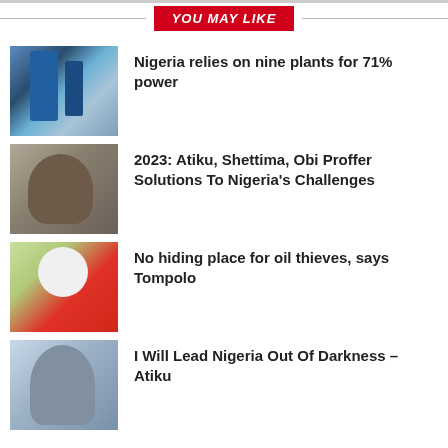YOU MAY LIKE
Nigeria relies on nine plants for 71% power
2023: Atiku, Shettima, Obi Proffer Solutions To Nigeria's Challenges
No hiding place for oil thieves, says Tompolo
I Will Lead Nigeria Out Of Darkness – Atiku